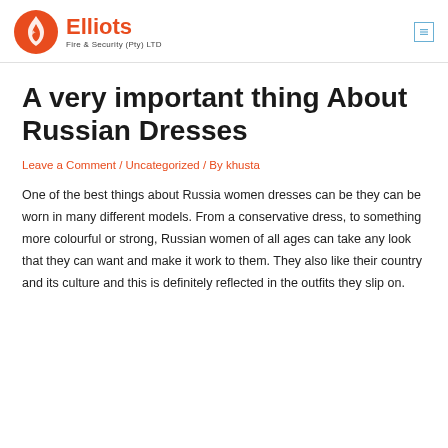Elliots Fire & Security (Pty) LTD
A very important thing About Russian Dresses
Leave a Comment / Uncategorized / By khusta
One of the best things about Russia women dresses can be they can be worn in many different models. From a conservative dress, to something more colourful or strong, Russian women of all ages can take any look that they can want and make it work to them. They also like their country and its culture and this is definitely reflected in the outfits they slip on.